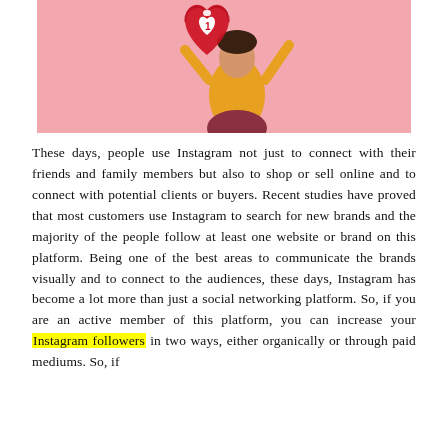[Figure (photo): A woman in a yellow top and dark red skirt holding a large red heart-shaped piñata with a white heart and the number 1 on it, against a pink background.]
These days, people use Instagram not just to connect with their friends and family members but also to shop or sell online and to connect with potential clients or buyers. Recent studies have proved that most customers use Instagram to search for new brands and the majority of the people follow at least one website or brand on this platform. Being one of the best areas to communicate the brands visually and to connect to the audiences, these days, Instagram has become a lot more than just a social networking platform. So, if you are an active member of this platform, you can increase your Instagram followers in two ways, either organically or through paid mediums. So, if